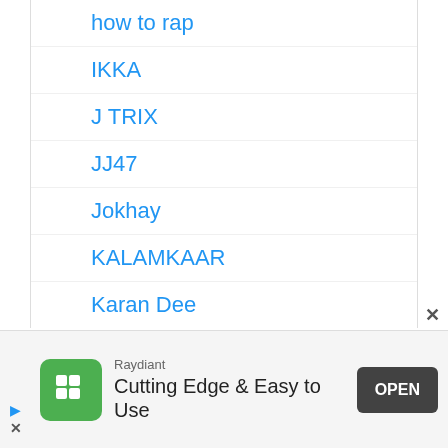how to rap
IKKA
J TRIX
JJ47
Jokhay
KALAMKAAR
Karan Dee
KARMA
KIDSHOT
KING ROCCO
Raydiant
Cutting Edge & Easy to Use
OPEN